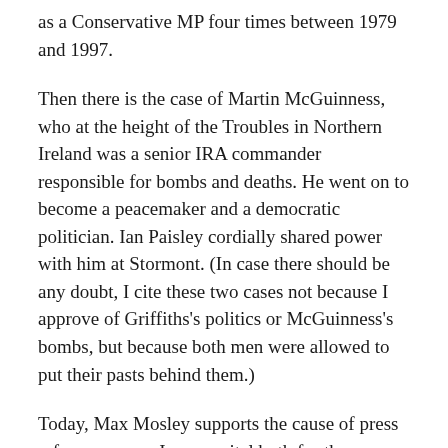as a Conservative MP four times between 1979 and 1997.
Then there is the case of Martin McGuinness, who at the height of the Troubles in Northern Ireland was a senior IRA commander responsible for bombs and deaths. He went on to become a peacemaker and a democratic politician. Ian Paisley cordially shared power with him at Stormont. (In case there should be any doubt, I cite these two cases not because I approve of Griffiths's politics or McGuinness's bombs, but because both men were allowed to put their pasts behind them.)
Today, Max Mosley supports the cause of press reform, a cause I see as vital both for the protection of ordinary people in this country and for the future of decent journalism. With others he is working in legal and constitutional ways, not for something subversive, but for something that could hardly be more respectable